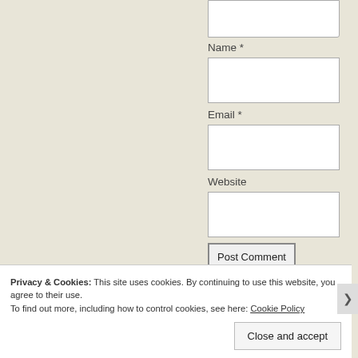[Figure (screenshot): Partial textarea (top of comment box) clipped at top of page]
Name *
[Figure (screenshot): Text input field for Name]
Email *
[Figure (screenshot): Text input field for Email]
Website
[Figure (screenshot): Text input field for Website]
[Figure (screenshot): Post Comment button]
Notify me of new comments via email.
Privacy & Cookies: This site uses cookies. By continuing to use this website, you agree to their use.
To find out more, including how to control cookies, see here: Cookie Policy
Close and accept